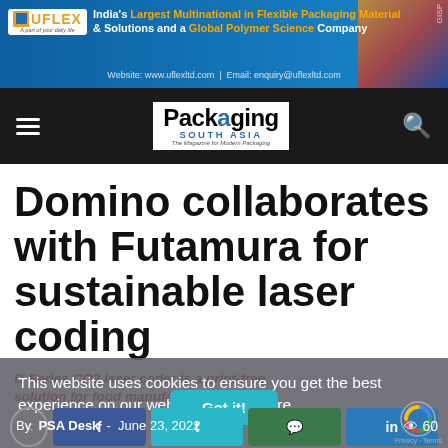[Figure (illustration): UFlex banner advertisement: India's Largest Multinational in Flexible Packaging Material & Solutions and a Global Polymer Science Company. Website: www.uflexltd.com | Email: enquiry@uflexltd.com]
[Figure (logo): Packaging South Asia magazine logo and navigation bar with hamburger menu and search icon]
Domino collaborates with Futamura for sustainable laser coding
D-Series CO2 laser coder is a print-free solution for food manufacturers
This website uses cookies to ensure you get the best experience on our website. Learn more
By PSA Desk - June 23, 2022
[Figure (screenshot): Got it! cookie consent button and social sharing buttons for Facebook, Twitter, WhatsApp, LinkedIn, plus reCAPTCHA widget]